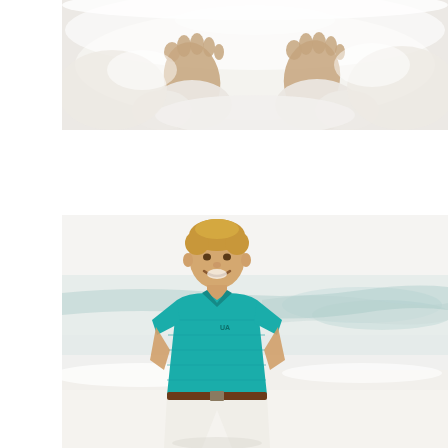[Figure (photo): Close-up photo of bare feet buried in white sand, viewed from above. Multiple feet visible with white sand covering parts of them.]
[Figure (photo): A young boy with blond hair wearing a teal/turquoise Under Armour polo shirt and white shorts with a brown belt, standing on a white sand beach with ocean waves in the background, smiling at the camera with hands in pockets.]